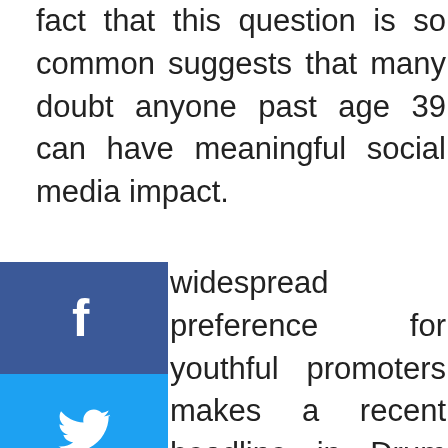fact that this question is so common suggests that many doubt anyone past age 39 can have meaningful social media impact.
[Figure (infographic): Vertical social media share bar with icons for Facebook (blue), Twitter (light blue), Pinterest (red), Blogger (orange), and YouTube (red)]
widespread preference for youthful promoters makes a recent headline in Drum seem almost ridiculous: “The rise of the 50+ influencer.” Really? Encountering a community of half-century and up social media salespeople seems about as likely as finding senior citizen sprinters at the upcoming Olympics.
We all know that as we age, our physical and mental capabilities